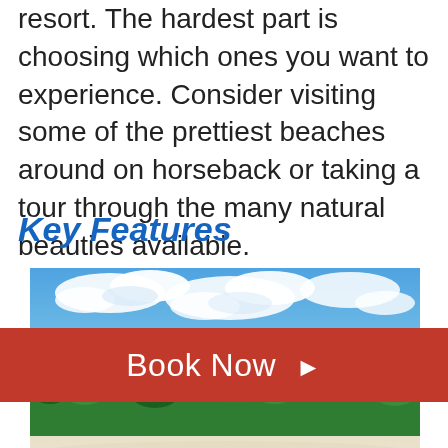resort. The hardest part is choosing which ones you want to experience. Consider visiting some of the prettiest beaches around on horseback or taking a tour through the many natural beauties available.
Key Features
[Figure (photo): A tropical beach scene showing a blue sky with white clouds in the upper portion, a band of lush green tropical trees and jungle in the middle, and a white sandy beach in the lower portion.]